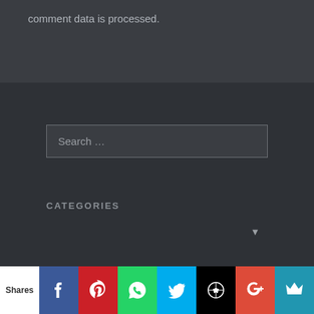comment data is processed.
Search ...
CATEGORIES
Select Category
Shares | Facebook | Pinterest | WhatsApp | Twitter | WordPress | Google+ | Crown